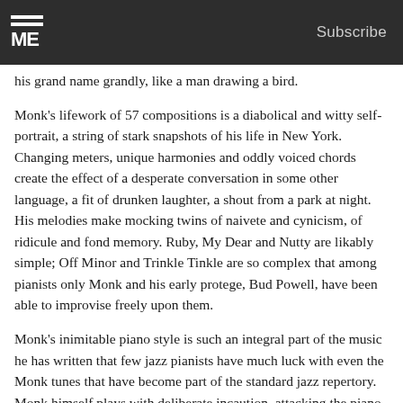ME | Subscribe
his grand name grandly, like a man drawing a bird.
Monk's lifework of 57 compositions is a diabolical and witty self-portrait, a string of stark snapshots of his life in New York. Changing meters, unique harmonies and oddly voiced chords create the effect of a desperate conversation in some other language, a fit of drunken laughter, a shout from a park at night. His melodies make mocking twins of naivete and cynicism, of ridicule and fond memory. Ruby, My Dear and Nutty are likably simple; Off Minor and Trinkle Tinkle are so complex that among pianists only Monk and his early protege, Bud Powell, have been able to improvise freely upon them.
Monk's inimitable piano style is such an integral part of the music he has written that few jazz pianists have much luck with even the Monk tunes that have become part of the standard jazz repertory. Monk himself plays with deliberate incaution, attacking the piano as if it were a carillon's keyboard or a finely tuned set of 88 drums. The array of sounds he divines from his Baldwin grand are beyond the reach of academic pianists; he caresses a note